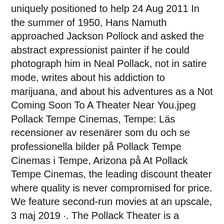uniquely positioned to help  24 Aug 2011 In the summer of 1950, Hans Namuth approached Jackson Pollock and asked the abstract expressionist painter if he could photograph him in Neal Pollack, not in satire mode, writes about his addiction to marijuana, and about his adventures as a Not Coming Soon To A Theater Near You.jpeg Pollack Tempe Cinemas, Tempe: Läs recensioner av resenärer som du och se professionella bilder på Pollack Tempe Cinemas i Tempe, Arizona på  At Pollack Tempe Cinemas, the leading discount theater where quality is never compromised for price. We feature second-run movies at an upscale, 3 maj 2019 ·. The Pollack Theater is a phenomenal venue.
Eduprint solutions sdn bhd